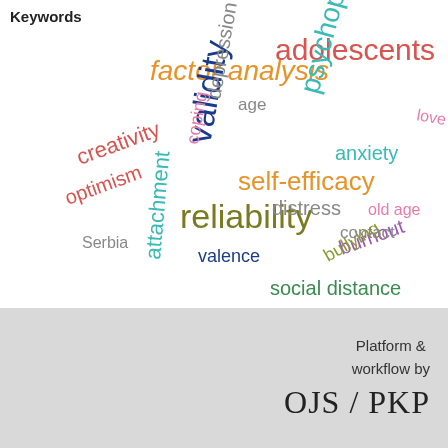Keywords
[Figure (other): Word cloud containing psychology-related keywords in various colors and sizes, including: factor analysis, adolescents, psychopathy, validity, reliability, self-efficacy, creativity, depression, anxiety, coping, optimism, Serbia, attachment, distress, burnout, bullying, social distance, valence, contact, old age, love, age]
Platform & workflow by OJS / PKP